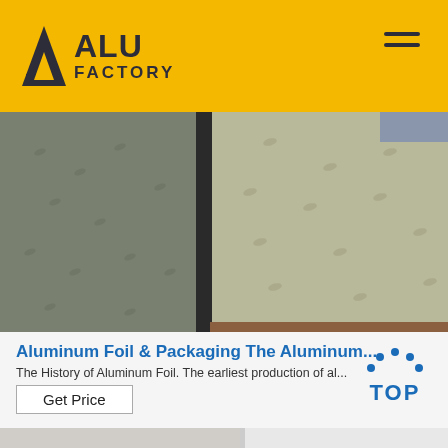ALU FACTORY
[Figure (photo): Close-up photo of textured/embossed aluminum sheets or foil with leaf/floral pattern, two panels side by side, showing metallic surface texture in grey-green tones]
Aluminum Foil & Packaging The Aluminum...
The History of Aluminum Foil. The earliest production of al...
Get Price
[Figure (photo): Partial bottom strip showing the beginning of another product photo]